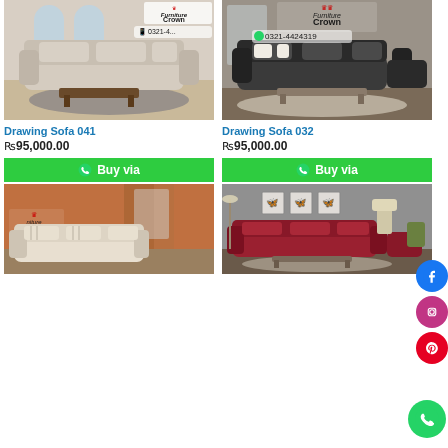[Figure (photo): Drawing Sofa 041 - light beige/cream sofa set in a bright living room with Furniture Crown logo and phone number 0321-4424319]
[Figure (photo): Drawing Sofa 032 - dark charcoal/grey sofa set in a living room with Furniture Crown logo and phone number 0321-4424319, Facebook social icon on right]
Drawing Sofa 041
Drawing Sofa 032
₨95,000.00
₨95,000.00
Buy via
Buy via
[Figure (photo): Sofa set with cream/beige fabric in orange-walled room with Furniture Crown branding]
[Figure (photo): Red/crimson sofa set in grey-walled room with wall art]